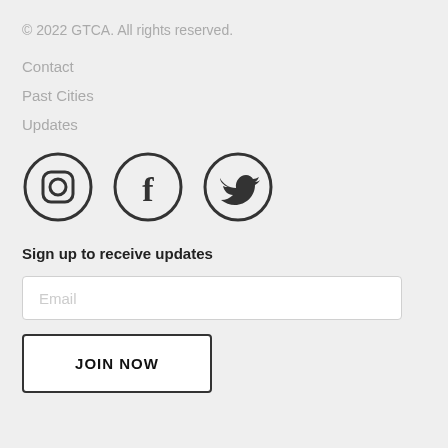© 2022 GTCA. All rights reserved.
Contact
Past Cities
Updates
[Figure (illustration): Three social media icons in circles: Instagram, Facebook, Twitter]
Sign up to receive updates
Email
JOIN NOW